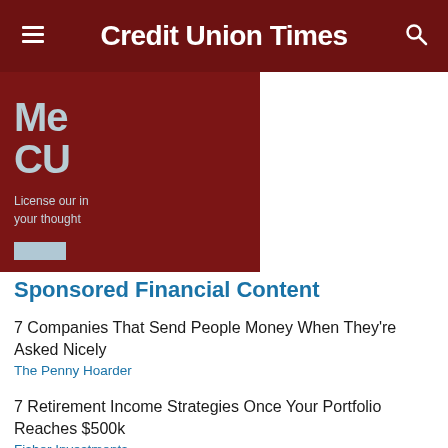Credit Union Times
[Figure (illustration): Dark red advertisement banner partially visible, showing large bold text 'Me... CU...' and smaller text 'License our in... your thought...' with a light blue button, on a dark maroon background.]
Sponsored Financial Content
7 Companies That Send People Money When They're Asked Nicely
The Penny Hoarder
7 Retirement Income Strategies Once Your Portfolio Reaches $500k
Fisher Investments
Credit Expert: Hands Down The Best Card